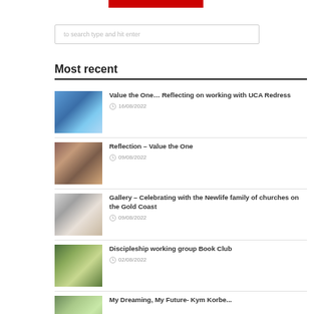[Figure (other): Red navigation bar at top]
to search type and hit enter
Most recent
Value the One… Reflecting on working with UCA Redress
16/08/2022
Reflection – Value the One
09/08/2022
Gallery – Celebrating with the Newlife family of churches on the Gold Coast
09/08/2022
Discipleship working group Book Club
02/08/2022
My Dreaming, My Future- Kym Korbe...